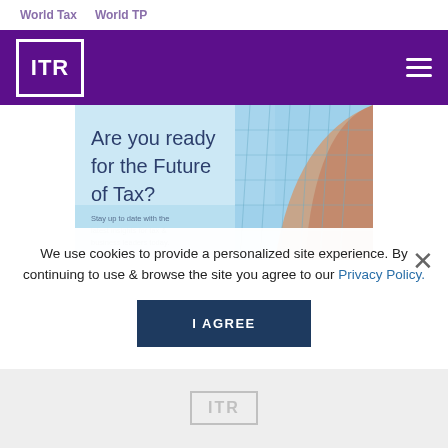World Tax   World TP
[Figure (logo): ITR logo in white on purple header bar with hamburger menu icon]
[Figure (illustration): Advertisement banner: 'Are you ready for the Future of Tax?' with architectural/globe image background. Subtext: 'Stay up to date with the latest insights for tax & business leaders today.']
We use cookies to provide a personalized site experience. By continuing to use & browse the site you agree to our Privacy Policy.
I AGREE
[Figure (logo): ITR logo faded at bottom of page]